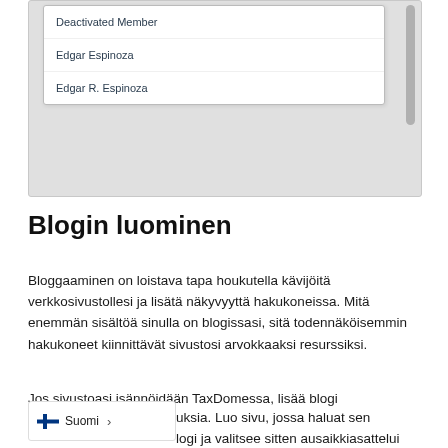[Figure (screenshot): A dropdown list UI element showing items: 'Deactivated Member', 'Edgar Espinoza', 'Edgar R. Espinoza' with a scrollbar on the right, rendered inside a gray panel.]
Blogin luominen
Bloggaaminen on loistava tapa houkutella kävijöitä verkkosivustollesi ja lisätä näkyvyyttä hakukoneissa. Mitä enemmän sisältöä sinulla on blogissasi, sitä todennäköisemmin hakukoneet kiinnittävät sivustosi arvokkaaksi resurssiksi.
Jos sivustoasi isännöidään TaxDomessa, lisää blogi uksia. Luo sivu, jossa haluat sen logi ja valitee sitten ausaikkiasattelui
[Figure (screenshot): A language selector badge showing the Finnish flag and 'Suomi' with a right arrow.]